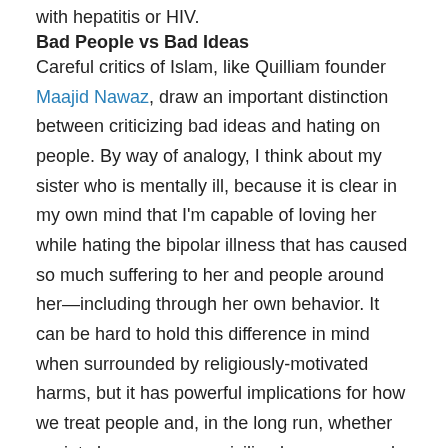with hepatitis or HIV.
Bad People vs Bad Ideas
Careful critics of Islam, like Quilliam founder Maajid Nawaz, draw an important distinction between criticizing bad ideas and hating on people. By way of analogy, I think about my sister who is mentally ill, because it is clear in my own mind that I'm capable of loving her while hating the bipolar illness that has caused so much suffering to her and people around her—including through her own behavior. It can be hard to hold this difference in mind when surrounded by religiously-motivated harms, but it has powerful implications for how we treat people and, in the long run, whether society becomes more civilized or more cruel.
How might the behavior of atheists change if we stayed